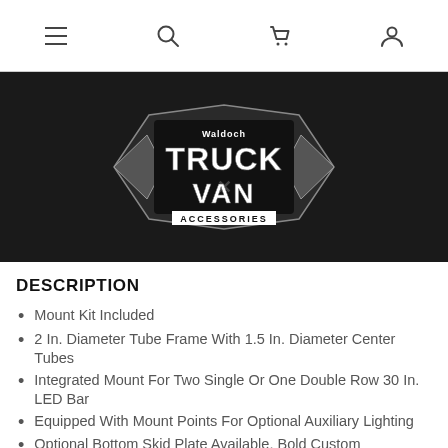Navigation bar with menu, search, cart, and user icons
[Figure (logo): Waldoch Truck Van Accessories logo on black background]
DESCRIPTION
Mount Kit Included
2 In. Diameter Tube Frame With 1.5 In. Diameter Center Tubes
Integrated Mount For Two Single Or One Double Row 30 In. LED Bar
Equipped With Mount Points For Optional Auxiliary Lighting
Optional Bottom Skid Plate Available, Bold Custom...